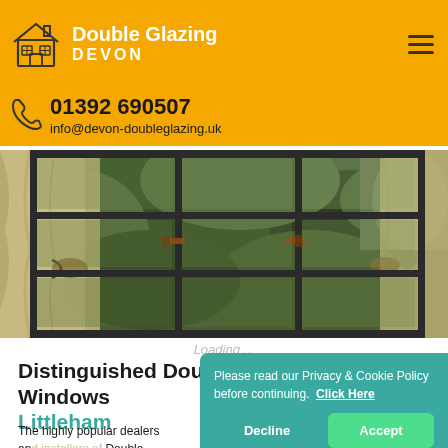Double Glazing DEVON
01392 690507
info@devon-doubleglazing.uk
[Figure (photo): View through double glazed sash windows with white curtains tied back, looking out to green foliage. Metal window handles visible.]
Loading ...
Distinguished Double Glazed Sash Windows Littleham
The highly popular dealers and installers of Double Glazed Sash Windows Littleham are proud to make the claim that we just sell the windows to you, but we also design and manufacture
Please read our Privacy & Cookie Policy before continuing. Click Here